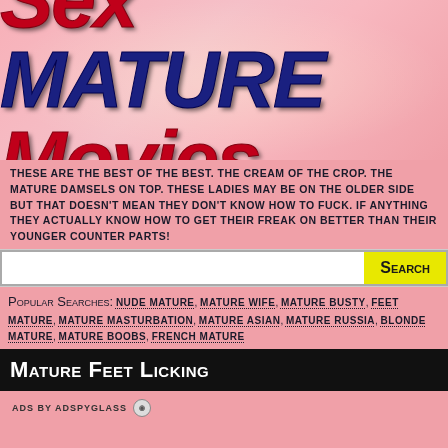[Figure (logo): Sex Mature Movies logo with stylized text, Sex and Movies in red, MATURE in dark blue, italic bold font on pink background]
These are the best of the best. The cream of the crop. The mature damsels on top. These ladies may be on the older side but that doesn't mean they don't know how to fuck. If anything they actually know how to get their freak on better than their younger counter parts!
Popular Searches: nude mature, mature wife, mature busty, feet mature, mature masturbation, mature asian, mature russia, blonde mature, mature boobs, french mature
Mature Feet Licking
ADS BY ADSPYGLASS